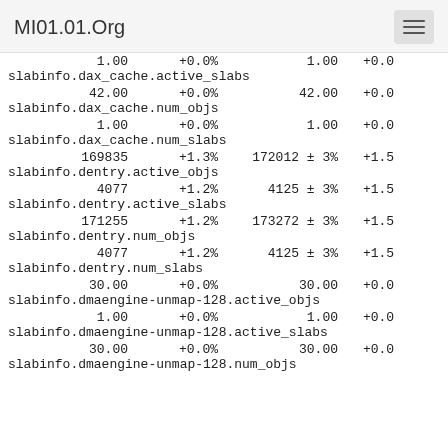MI01.01.Org
1.00   +0.0%   1.00   +0.0%
slabinfo.dax_cache.active_slabs
42.00   +0.0%   42.00   +0.0%
slabinfo.dax_cache.num_objs
1.00   +0.0%   1.00   +0.0%
slabinfo.dax_cache.num_slabs
169835   +1.3%   172012 ± 3%   +1.5%
slabinfo.dentry.active_objs
4077   +1.2%   4125 ± 3%   +1.5%
slabinfo.dentry.active_slabs
171255   +1.2%   173272 ± 3%   +1.5%
slabinfo.dentry.num_objs
4077   +1.2%   4125 ± 3%   +1.5%
slabinfo.dentry.num_slabs
30.00   +0.0%   30.00   +0.0%
slabinfo.dmaengine-unmap-128.active_objs
1.00   +0.0%   1.00   +0.0%
slabinfo.dmaengine-unmap-128.active_slabs
30.00   +0.0%   30.00   +0.0%
slabinfo.dmaengine-unmap-128.num_objs